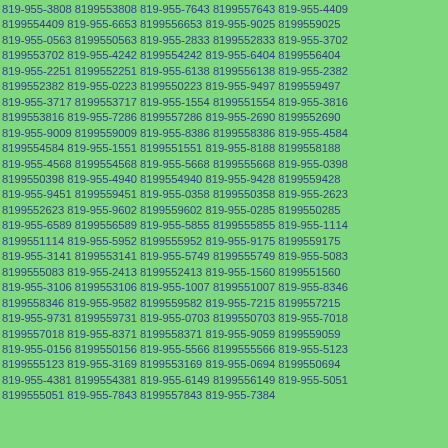819-955-3808 8199553808 819-955-7643 8199557643 819-955-4409 8199554409 819-955-6653 8199556653 819-955-9025 8199559025 819-955-0563 8199550563 819-955-2833 8199552833 819-955-3702 8199553702 819-955-4242 8199554242 819-955-6404 8199556404 819-955-2251 8199552251 819-955-6138 8199556138 819-955-2382 8199552382 819-955-0223 8199550223 819-955-9497 8199559497 819-955-3717 8199553717 819-955-1554 8199551554 819-955-3816 8199553816 819-955-7286 8199557286 819-955-2690 8199552690 819-955-9009 8199559009 819-955-8386 8199558386 819-955-4584 8199554584 819-955-1551 8199551551 819-955-8188 8199558188 819-955-4568 8199554568 819-955-5668 8199555668 819-955-0398 8199550398 819-955-4940 8199554940 819-955-9428 8199559428 819-955-9451 8199559451 819-955-0358 8199550358 819-955-2623 8199552623 819-955-9602 8199559602 819-955-0285 8199550285 819-955-6589 8199556589 819-955-5855 8199555855 819-955-1114 8199551114 819-955-5952 8199555952 819-955-9175 8199559175 819-955-3141 8199553141 819-955-5749 8199555749 819-955-5083 8199555083 819-955-2413 8199552413 819-955-1560 8199551560 819-955-3106 8199553106 819-955-1007 8199551007 819-955-8346 8199558346 819-955-9582 8199559582 819-955-7215 8199557215 819-955-9731 8199559731 819-955-0703 8199550703 819-955-7018 8199557018 819-955-8371 8199558371 819-955-9059 8199559059 819-955-0156 8199550156 819-955-5566 8199555566 819-955-5123 8199555123 819-955-3169 8199553169 819-955-0694 8199550694 819-955-4381 8199554381 819-955-6149 8199556149 819-955-5051 8199555051 819-955-7843 8199557843 819-955-7384